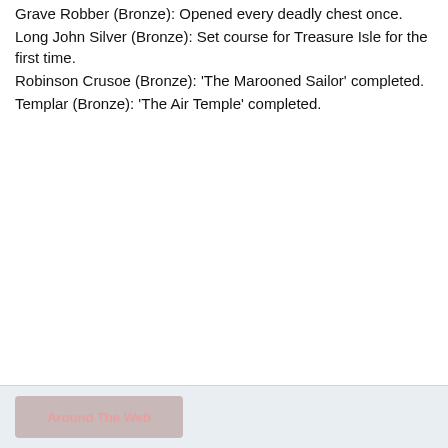Grave Robber (Bronze): Opened every deadly chest once.
Long John Silver (Bronze): Set course for Treasure Isle for the first time.
Robinson Crusoe (Bronze): 'The Marooned Sailor' completed.
Templar (Bronze): 'The Air Temple' completed.
Around The Web